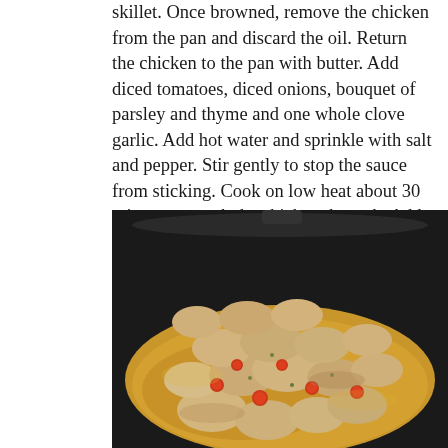skillet. Once browned, remove the chicken from the pan and discard the oil. Return the chicken to the pan with butter. Add diced tomatoes, diced onions, bouquet of parsley and thyme and one whole clove garlic. Add hot water and sprinkle with salt and pepper. Stir gently to stop the sauce from sticking. Cook on low heat about 30 minutes to cook the chicken through. Add mushrooms, olives and cognac and let bubble up. Add chopped parsley and garlic before serving.
[Figure (photo): A dark cast iron skillet containing cooked chicken pieces in a golden sauce with cherry tomatoes, viewed from above.]